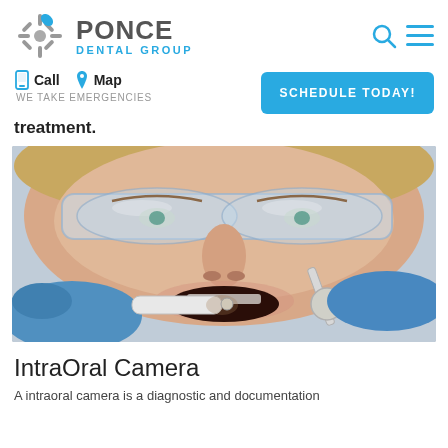PONCE DENTAL GROUP
Call   Map
WE TAKE EMERGENCIES
SCHEDULE TODAY!
treatment.
[Figure (photo): Close-up photo of a female dental patient wearing protective goggles with mouth open while a dentist uses an intraoral camera and dental mirror inside her mouth. Dentist is wearing blue gloves.]
IntraOral Camera
A intraoral camera is a diagnostic and documentation...